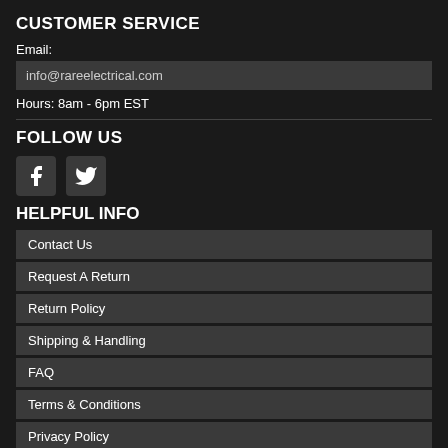CUSTOMER SERVICE
Email:
info@rareelectrical.com
Hours: 8am - 6pm EST
FOLLOW US
[Figure (illustration): Facebook and Twitter social media icons]
HELPFUL INFO
Contact Us
Request A Return
Return Policy
Shipping & Handling
FAQ
Terms & Conditions
Privacy Policy